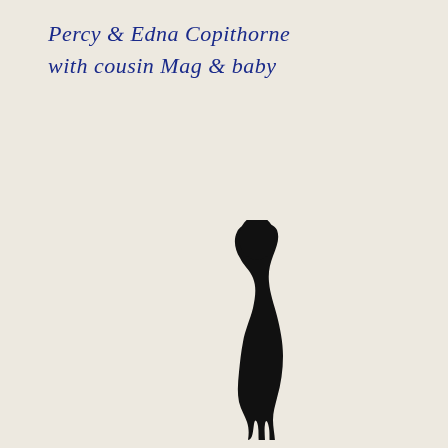Percy & Edna Copithorne with cousin Mag & baby
[Figure (illustration): A dark black silhouette or ink blot shape resembling a standing figure, located in the center-lower portion of the page]